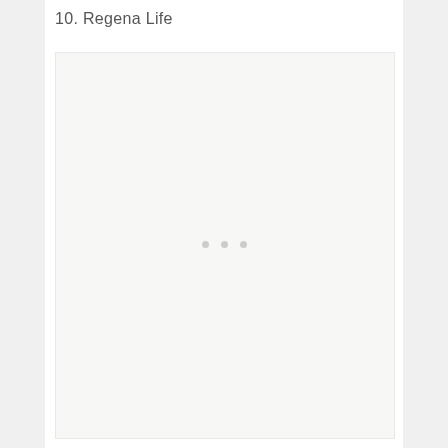10. Regena Life
[Figure (other): Loading placeholder box with three dots indicating content is loading]